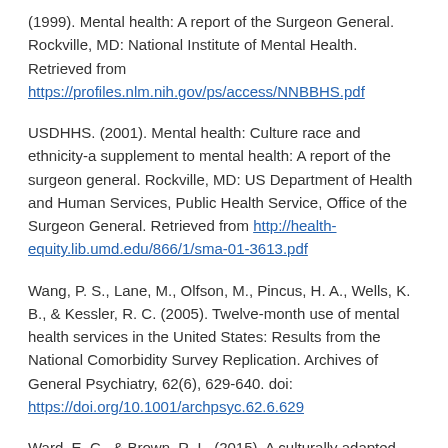(1999). Mental health: A report of the Surgeon General. Rockville, MD: National Institute of Mental Health. Retrieved from https://profiles.nlm.nih.gov/ps/access/NNBBHS.pdf
USDHHS. (2001). Mental health: Culture race and ethnicity-a supplement to mental health: A report of the surgeon general. Rockville, MD: US Department of Health and Human Services, Public Health Service, Office of the Surgeon General. Retrieved from http://health-equity.lib.umd.edu/866/1/sma-01-3613.pdf
Wang, P. S., Lane, M., Olfson, M., Pincus, H. A., Wells, K. B., & Kessler, R. C. (2005). Twelve-month use of mental health services in the United States: Results from the National Comorbidity Survey Replication. Archives of General Psychiatry, 62(6), 629-640. doi: https://doi.org/10.1001/archpsyc.62.6.629
Ward, E. C., & Brown, R. L. (2015). A culturally adapted